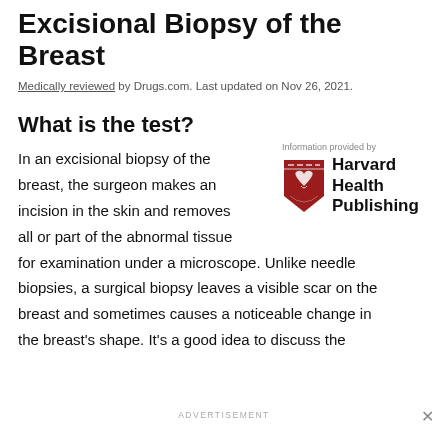Excisional Biopsy of the Breast
Medically reviewed by Drugs.com. Last updated on Nov 26, 2021.
What is the test?
[Figure (logo): Harvard Health Publishing logo with shield crest and text 'Harvard Health Publishing', with label 'Information provided by']
In an excisional biopsy of the breast, the surgeon makes an incision in the skin and removes all or part of the abnormal tissue for examination under a microscope. Unlike needle biopsies, a surgical biopsy leaves a visible scar on the breast and sometimes causes a noticeable change in the breast's shape. It's a good idea to discuss the
ADVERTISEMENT